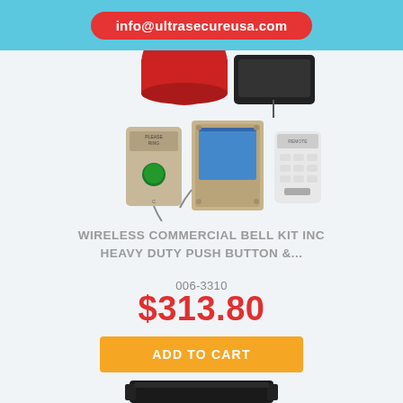info@ultrasecureusa.com
[Figure (photo): Product image showing a wireless commercial bell kit including a red alarm bell with mounting bracket (top), a beige wireless push button labeled PLEASE RING, a tan wall-mount receiver panel with blue screen, and a small white remote control with buttons. Below: partial view of a dark-colored mounting bracket.]
WIRELESS COMMERCIAL BELL KIT INC HEAVY DUTY PUSH BUTTON &...
006-3310
$313.80
ADD TO CART